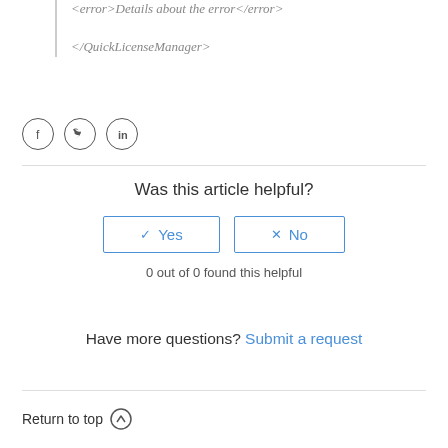<error>Details about the error</error>
</QuickLicenseManager>
[Figure (illustration): Social media icons: Facebook, Twitter, LinkedIn in circles]
Was this article helpful?
Yes | No buttons
0 out of 0 found this helpful
Have more questions? Submit a request
Return to top